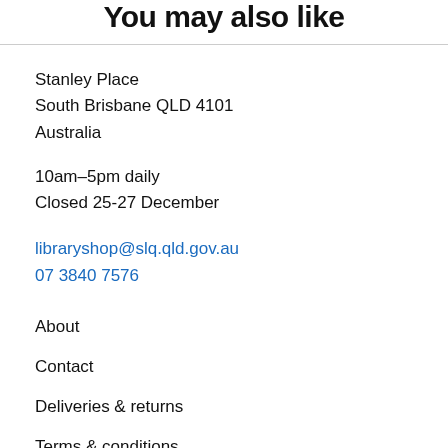You may also like
Stanley Place
South Brisbane QLD 4101
Australia
10am–5pm daily
Closed 25-27 December
libraryshop@slq.qld.gov.au
07 3840 7576
About
Contact
Deliveries & returns
Terms & conditions